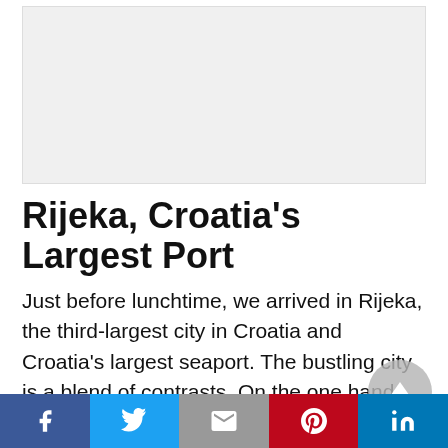[Figure (photo): Placeholder image area for a photo of Rijeka, Croatia]
Rijeka, Croatia’s Largest Port
Just before lunchtime, we arrived in Rijeka, the third-largest city in Croatia and Croatia’s largest seaport. The bustling city is a blend of contrasts. On the one hand you have the gritty 20th-century port, and on the other hand, the city center is home to
Facebook | Twitter | Email | Pinterest | LinkedIn